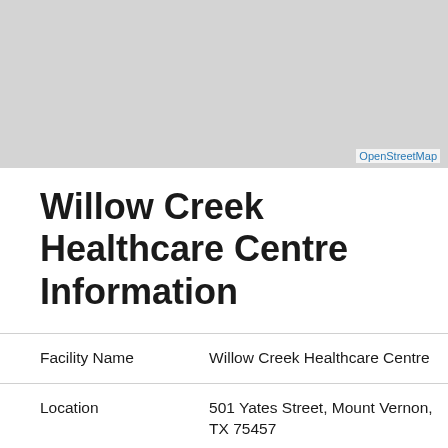[Figure (map): Gray map tile area showing OpenStreetMap base map with no visible features, light gray background]
OpenStreetMap
Willow Creek Healthcare Centre Information
| Facility Name | Willow Creek Healthcare Centre |
| Location | 501 Yates Street, Mount Vernon, TX 75457 |
| County (SSA Code) | Franklin (531) |
| Phone Number | 903-537-4424 |